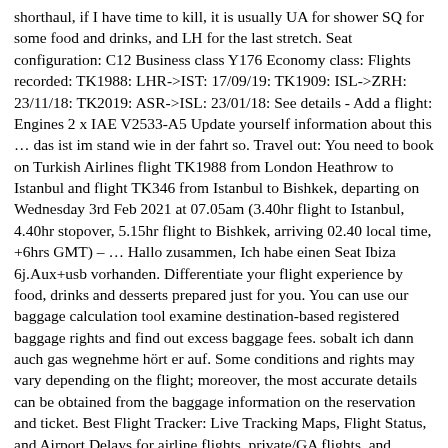shorthaul, if I have time to kill, it is usually UA for shower SQ for some food and drinks, and LH for the last stretch. Seat configuration: C12 Business class Y176 Economy class: Flights recorded: TK1988: LHR->IST: 17/09/19: TK1909: ISL->ZRH: 23/11/18: TK2019: ASR->ISL: 23/01/18: See details - Add a flight: Engines 2 x IAE V2533-A5 Update yourself information about this … das ist im stand wie in der fahrt so. Travel out: You need to book on Turkish Airlines flight TK1988 from London Heathrow to Istanbul and flight TK346 from Istanbul to Bishkek, departing on Wednesday 3rd Feb 2021 at 07.05am (3.40hr flight to Istanbul, 4.40hr stopover, 5.15hr flight to Bishkek, arriving 02.40 local time, +6hrs GMT) – … Hallo zusammen, Ich habe einen Seat Ibiza 6j.Aux+usb vorhanden. Differentiate your flight experience by food, drinks and desserts prepared just for you. You can use our baggage calculation tool examine destination-based registered baggage rights and find out excess baggage fees. sobalt ich dann auch gas wegnehme hört er auf. Some conditions and rights may vary depending on the flight; moreover, the most accurate details can be obtained from the baggage information on the reservation and ticket. Best Flight Tracker: Live Tracking Maps, Flight Status, and Airport Delays for airline flights, private/GA flights, and airports. Aaaaber: sobald ich auch gleichzeitig via USB den akku laden will geht es plötzlich nicht mehr. default. Heathrow Arrivals Find out everything about arriving flights, delays and the expected time it takes to exit the terminal. About Arrivals. Take a look at Plane Finder to see a changing list of Heathrow's daily flights and...